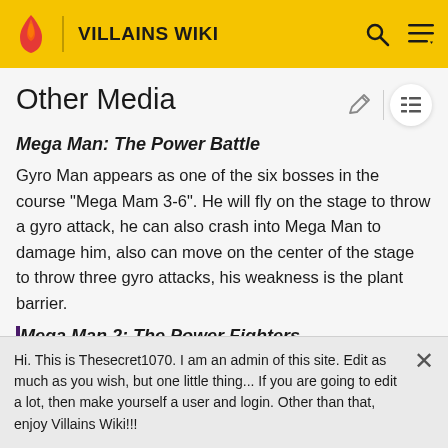VILLAINS WIKI
Other Media
Mega Man: The Power Battle
Gyro Man appears as one of the six bosses in the course "Mega Mam 3-6". He will fly on the stage to throw a gyro attack, he can also crash into Mega Man to damage him, also can move on the center of the stage to throw three gyro attacks, his weakness is the plant barrier.
Mega Man 2: The Power Fighters
Hi. This is Thesecret1070. I am an admin of this site. Edit as much as you wish, but one little thing... If you are going to edit a lot, then make yourself a user and login. Other than that, enjoy Villains Wiki!!!